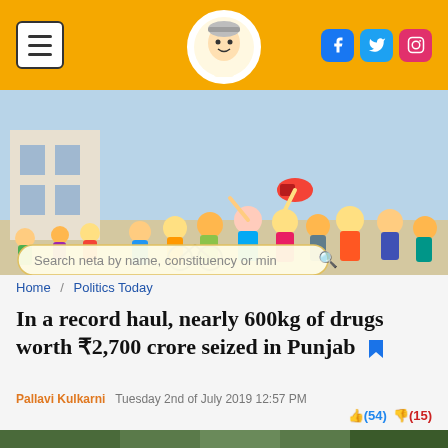Menu | Logo | Social icons (Facebook, Twitter, Instagram)
[Figure (illustration): Colorful cartoon illustration of a crowd of people with a search bar overlay reading 'Search neta by name, constituency or min']
Home / Politics Today
In a record haul, nearly 600kg of drugs worth ₹2,700 crore seized in Punjab
Pallavi Kulkarni  Tuesday 2nd of July 2019 12:57 PM
(54) (15)